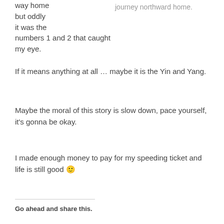way home but oddly it was the numbers 1 and 2 that caught my eye.
journey northward home.
If it means anything at all … maybe it is the Yin and Yang.
Maybe the moral of this story is slow down, pace yourself, it's gonna be okay.
I made enough money to pay for my speeding ticket and life is still good 🙂
Go ahead and share this.